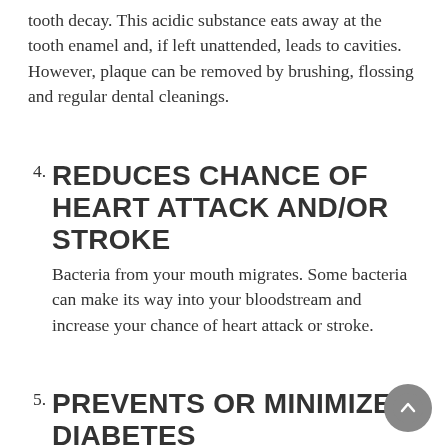tooth decay. This acidic substance eats away at the tooth enamel and, if left unattended, leads to cavities. However, plaque can be removed by brushing, flossing and regular dental cleanings.
4. REDUCES CHANCE OF HEART ATTACK AND/OR STROKE
Bacteria from your mouth migrates. Some bacteria can make its way into your bloodstream and increase your chance of heart attack or stroke.
5. PREVENTS OR MINIMIZE DIABETES
The relationship between serious gum disease and diabetes is a two-way street. First, gum disease makes it harder to control your blood